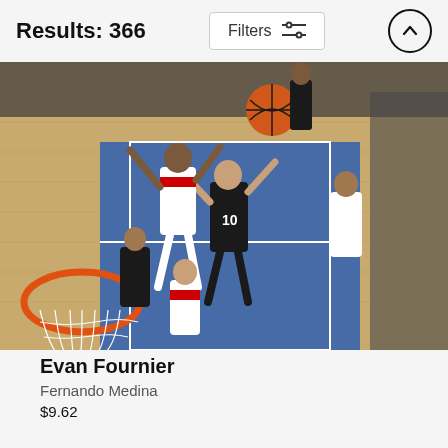Results: 366
[Figure (photo): NBA basketball game action photo showing player #10 (Evan Fournier) driving to the basket against defenders near the orange rim and white net, on a blue and hardwood court with spectators in background]
Evan Fournier
Fernando Medina
$9.62